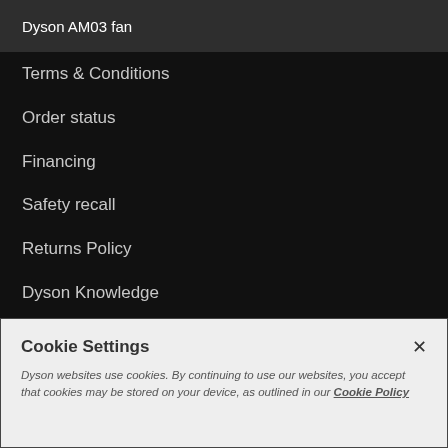Dyson AM03 fan
Terms & Conditions
Order status
Financing
Safety recall
Returns Policy
Dyson Knowledge
Sustainability
Sitemap
Cookie Settings
Dyson websites use cookies. By continuing to use our websites, you accept that cookies may be stored on your device, as outlined in our Cookie Policy